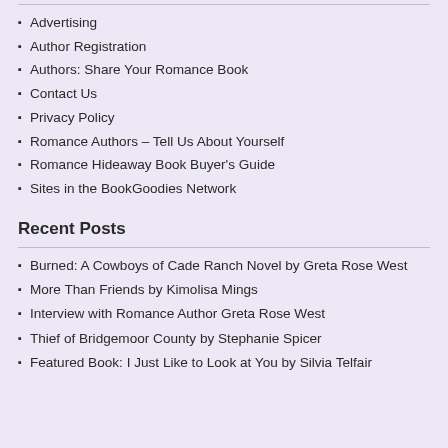Advertising
Author Registration
Authors: Share Your Romance Book
Contact Us
Privacy Policy
Romance Authors – Tell Us About Yourself
Romance Hideaway Book Buyer's Guide
Sites in the BookGoodies Network
Recent Posts
Burned: A Cowboys of Cade Ranch Novel by Greta Rose West
More Than Friends by Kimolisa Mings
Interview with Romance Author Greta Rose West
Thief of Bridgemoor County by Stephanie Spicer
Featured Book: I Just Like to Look at You by Silvia Telfair